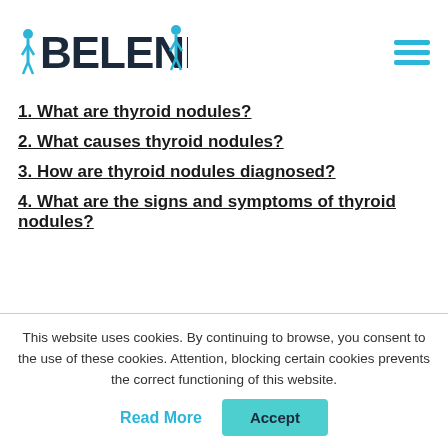BELENDO
1. What are thyroid nodules?
2. What causes thyroid nodules?
3. How are thyroid nodules diagnosed?
4. What are the signs and symptoms of thyroid nodules?
This website uses cookies. By continuing to browse, you consent to the use of these cookies. Attention, blocking certain cookies prevents the correct functioning of this website.
Read More
Accept